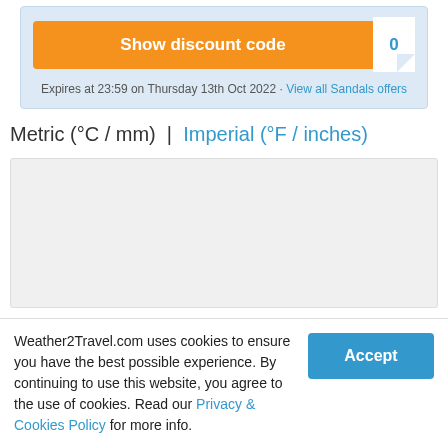[Figure (screenshot): Orange 'Show discount code' button with a white code stub showing '0' and a folded corner, inside a light blue promotional box]
Expires at 23:59 on Thursday 13th Oct 2022 · View all Sandals offers
Metric (°C / mm)  |  Imperial (°F / inches)
[Figure (other): Empty chart/graph placeholder box with light grey background]
Weather2Travel.com uses cookies to ensure you have the best possible experience. By continuing to use this website, you agree to the use of cookies. Read our Privacy & Cookies Policy for more info.